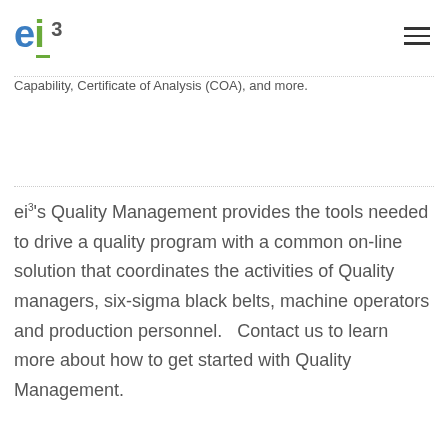ei³ logo and hamburger menu
Capability, Certificate of Analysis (COA), and more.
ei³'s Quality Management provides the tools needed to drive a quality program with a common on-line solution that coordinates the activities of Quality managers, six-sigma black belts, machine operators and production personnel.   Contact us to learn more about how to get started with Quality Management.